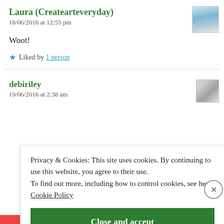Laura (Createarteveryday)
18/06/2016 at 12:55 pm
Woot!
★ Liked by 1 person
debiriley
19/06/2016 at 2:38 am
Privacy & Cookies: This site uses cookies. By continuing to use this website, you agree to their use.
To find out more, including how to control cookies, see here: Cookie Policy
Close and accept